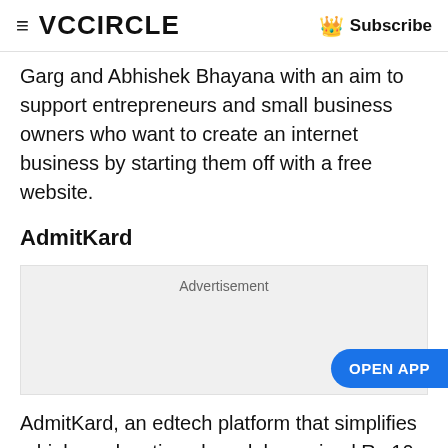≡ VCCiRCLE   👑 Subscribe
Garg and Abhishek Bhayana with an aim to support entrepreneurs and small business owners who want to create an internet business by starting them off with a free website.
AdmitKard
[Figure (other): Advertisement placeholder box with grey background]
AdmitKard, an edtech platform that simplifies a higher education abroad, has raised Rs 10 crore ($1.34 million) in a pre-Series A round.